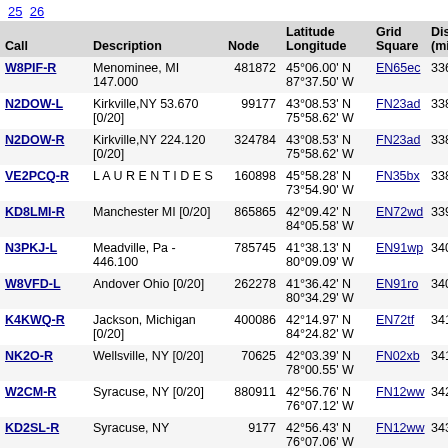25 26
| Call | Description | Node | Latitude Longitude | Grid Square | Dist (mi) | Freq (Mhz) |
| --- | --- | --- | --- | --- | --- | --- |
| W8PIF-R | Menominee, MI 147.000 | 481872 | 45°06.00' N 87°37.50' W | EN65ec | 336.0 | 147. |
| N2DOW-L | Kirkville,NY 53.670 [0/20] | 99177 | 43°08.53' N 75°58.62' W | FN23ad | 338.0 |  |
| N2DOW-R | Kirkville,NY 224.120 [0/20] | 324784 | 43°08.53' N 75°58.62' W | FN23ad | 338.0 |  |
| VE2PCQ-R | L A U R E N T I D E S | 160898 | 45°58.28' N 73°54.90' W | FN35bx | 338.9 | 447. |
| KD8LMI-R | Manchester MI [0/20] | 865865 | 42°09.42' N 84°05.58' W | EN72wd | 339.3 |  |
| N3PKJ-L | Meadville, Pa - 446.100 | 785745 | 41°38.13' N 80°09.09' W | EN91wp | 340.3 | 446. |
| W8VFD-L | Andover Ohio [0/20] | 262278 | 41°36.42' N 80°34.29' W | EN91ro | 340.4 |  |
| K4KWQ-R | Jackson, Michigan [0/20] | 400086 | 42°14.97' N 84°24.82' W | EN72tf | 341.2 | 444. |
| NK2O-R | Wellsville, NY [0/20] | 70625 | 42°03.39' N 78°00.55' W | FN02xb | 341.5 |  |
| W2CM-R | Syracuse, NY [0/20] | 880911 | 42°56.76' N 76°07.12' W | FN12ww | 342.9 | 147. |
| KD2SL-R | Syracuse, NY | 9177 | 42°56.43' N 76°07.06' W | FN12ww | 343.2 | 146. |